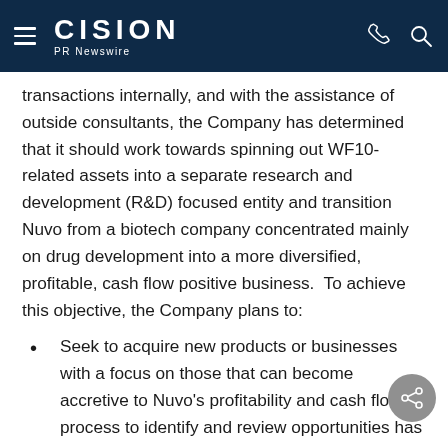CISION PR Newswire
transactions internally, and with the assistance of outside consultants, the Company has determined that it should work towards spinning out WF10-related assets into a separate research and development (R&D) focused entity and transition Nuvo from a biotech company concentrated mainly on drug development into a more diversified, profitable, cash flow positive business.  To achieve this objective, the Company plans to:
Seek to acquire new products or businesses with a focus on those that can become accretive to Nuvo's profitability and cash flow.  A process to identify and review opportunities has been